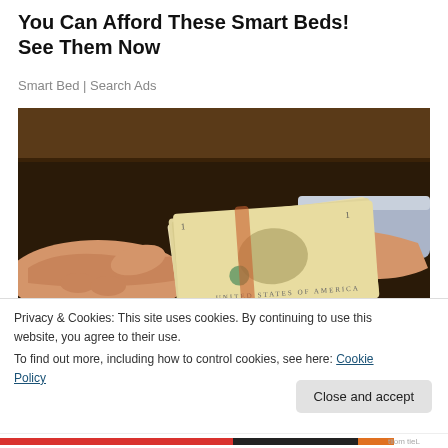You Can Afford These Smart Beds! See Them Now
Smart Bed | Search Ads
[Figure (photo): Two hands exchanging a stack of US dollar bills against a dark background]
Privacy & Cookies: This site uses cookies. By continuing to use this website, you agree to their use.
To find out more, including how to control cookies, see here: Cookie Policy
Close and accept